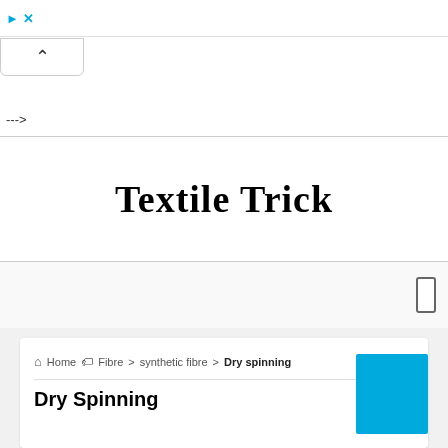Textile Trick
Textile Trick
--->
Home > Fibre > synthetic fibre > Dry spinning
Dry Spinning